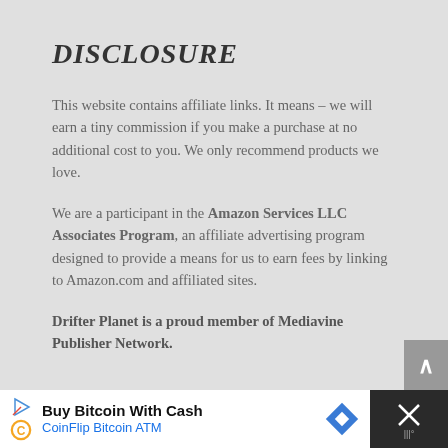DISCLOSURE
This website contains affiliate links. It means – we will earn a tiny commission if you make a purchase at no additional cost to you. We only recommend products we love.
We are a participant in the Amazon Services LLC Associates Program, an affiliate advertising program designed to provide a means for us to earn fees by linking to Amazon.com and affiliated sites.
Drifter Planet is a proud member of Mediavine Publisher Network.
[Figure (other): Advertisement banner: Buy Bitcoin With Cash - CoinFlip Bitcoin ATM with logo and close button]